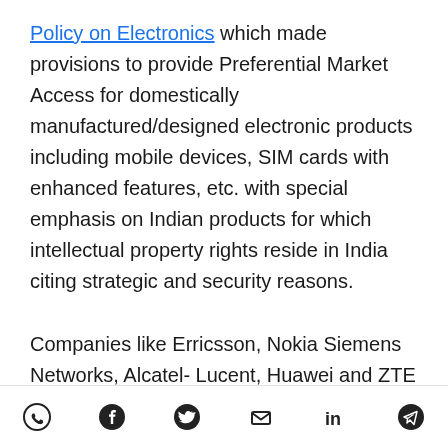Policy on Electronics which made provisions to provide Preferential Market Access for domestically manufactured/designed electronic products including mobile devices, SIM cards with enhanced features, etc. with special emphasis on Indian products for which intellectual property rights reside in India citing strategic and security reasons.
Companies like Erricsson, Nokia Siemens Networks, Alcatel- Lucent, Huawei and ZTE stand to lose out on the lucrative National Optical Fiber N...
[social share icons: WhatsApp, Facebook, Twitter, Email, LinkedIn, Telegram]